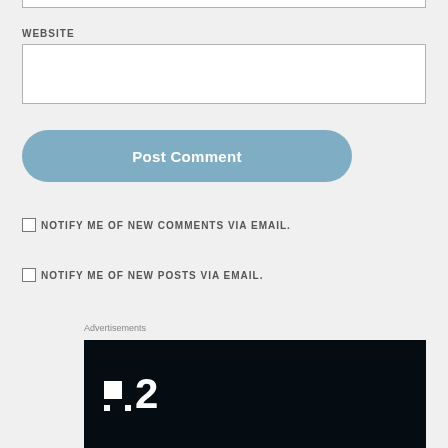WEBSITE
Post Comment
NOTIFY ME OF NEW COMMENTS VIA EMAIL.
NOTIFY ME OF NEW POSTS VIA EMAIL.
Advertisements
[Figure (logo): Dark background with white squares logo and number 2]